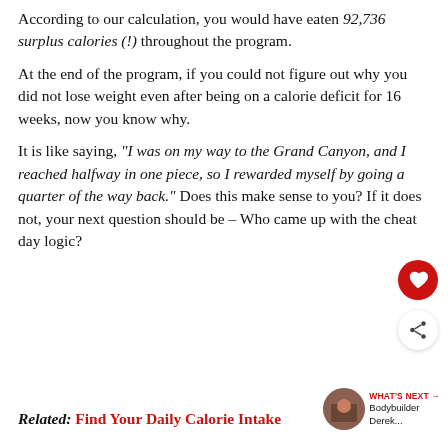According to our calculation, you would have eaten 92,736 surplus calories (!) throughout the program.
At the end of the program, if you could not figure out why you did not lose weight even after being on a calorie deficit for 16 weeks, now you know why.
It is like saying, “I was on my way to the Grand Canyon, and I reached halfway in one piece, so I rewarded myself by going a quarter of the way back.” Does this make sense to you? If it does not, your next question should be – Who came up with the cheat day logic?
Related: Find Your Daily Calorie Intake